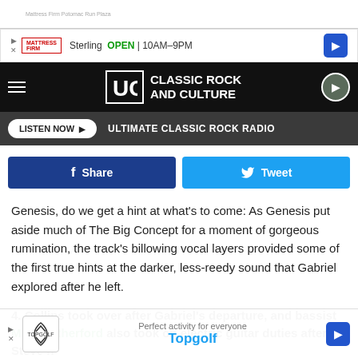[Figure (screenshot): Mattress Firm ad banner: Sterling OPEN 10AM-9PM with navigation arrow]
[Figure (logo): UCR Ultimate Classic Rock and Culture logo header with hamburger menu and play button]
LISTEN NOW ▶  ULTIMATE CLASSIC ROCK RADIO
[Figure (other): Facebook Share and Twitter Tweet social buttons]
Genesis, do we get a hint at what's to come: As Genesis put aside much of The Big Concept for a moment of gorgeous rumination, the track's billowing vocal layers provided some of the first true hints at the darker, less-reedy sound that Gabriel explored after he left.
4. Collins took over after Gabriel's departure, and bassist Mike Rutherford also took on electric guitar duties after Steve h... have hired s...
[Figure (screenshot): Topgolf ad banner: Perfect activity for everyone]